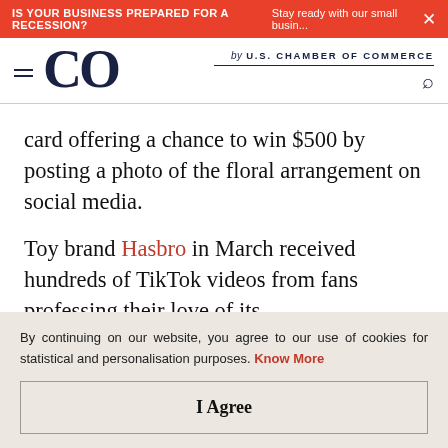IS YOUR BUSINESS PREPARED FOR A RECESSION? Stay ready with our small busin... ×
[Figure (logo): CO by U.S. Chamber of Commerce logo with hamburger menu and search icon]
card offering a chance to win $500 by posting a photo of the floral arrangement on social media.
Toy brand Hasbro in March received hundreds of TikTok videos from fans professing their love of its
By continuing on our website, you agree to our use of cookies for statistical and personalisation purposes. Know More
I Agree